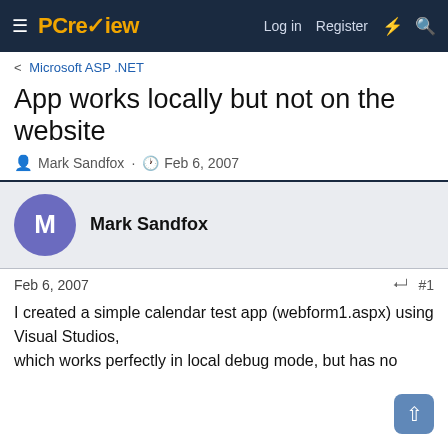≡ PCreview   Log in   Register   ⚡   🔍
< Microsoft ASP .NET
App works locally but not on the website
Mark Sandfox · Feb 6, 2007
Mark Sandfox
Feb 6, 2007   #1
I created a simple calendar test app (webform1.aspx) using Visual Studios,
which works perfectly in local debug mode, but has no